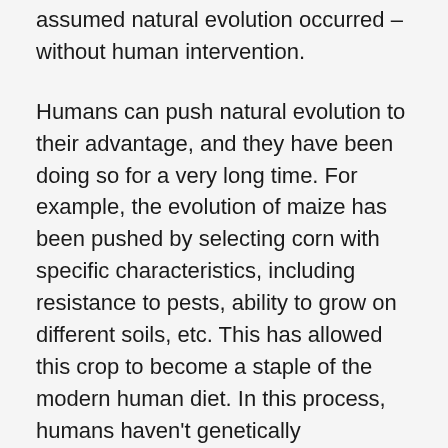occur. This is however true only if they assumed natural evolution occurred – without human intervention.
Humans can push natural evolution to their advantage, and they have been doing so for a very long time. For example, the evolution of maize has been pushed by selecting corn with specific characteristics, including resistance to pests, ability to grow on different soils, etc. This has allowed this crop to become a staple of the modern human diet. In this process, humans haven't genetically manipulated maize directly, but they nonetheless acted as selective forces that naturally led to the creation of a crop with desired characteristics. An animal example is the evolution of dogs from wolves,